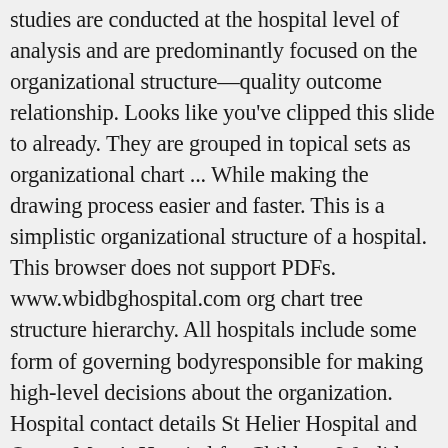studies are conducted at the hospital level of analysis and are predominantly focused on the organizational structure—quality outcome relationship. Looks like you've clipped this slide to already. They are grouped in topical sets as organizational chart ... While making the drawing process easier and faster. This is a simplistic organizational structure of a hospital. This browser does not support PDFs. www.wbidbghospital.com org chart tree structure hierarchy. All hospitals include some form of governing bodyresponsible for making high-level decisions about the organization. Hospital contact details St Helier Hospital and Queen Mary's Hospital for Children. We did a systematic review to identify crucial elements for the organisation of effective infection-prevention programmes in hospitals and key components for implem ... Hospital organisation, management, and structure for prevention of health-care-associated infection: a systematic review and expert consensus